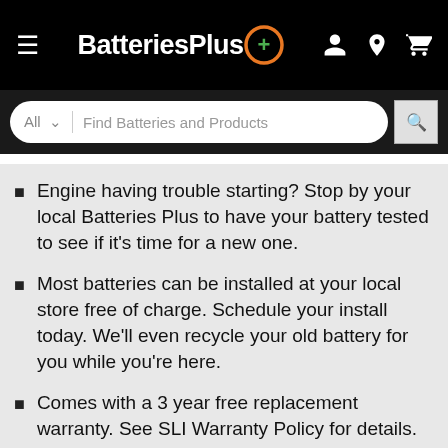BatteriesPlus
[Figure (screenshot): Search bar with 'All' dropdown and 'Find Batteries and Products' placeholder text]
Engine having trouble starting? Stop by your local Batteries Plus to have your battery tested to see if it's time for a new one.
Most batteries can be installed at your local store free of charge. Schedule your install today. We'll even recycle your old battery for you while you're here.
Comes with a 3 year free replacement warranty. See SLI Warranty Policy for details.